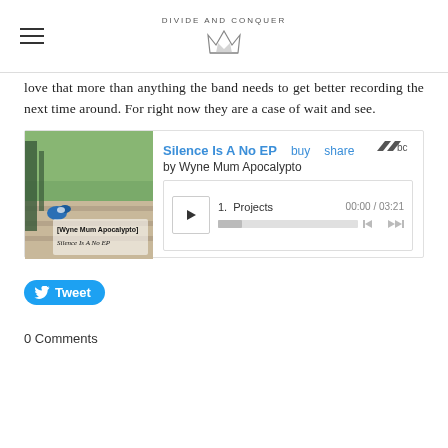DIVIDE AND CONQUER
love that more than anything the band needs to get better recording the next time around. For right now they are a case of wait and see.
[Figure (screenshot): Bandcamp embedded music player for 'Silence Is A No EP' by Wyne Mum Apocalypto. Shows album art on the left (outdoor photo with album text overlay), and on the right: title link 'Silence Is A No EP', buy/share links, bandcamp logo, artist name 'by Wyne Mum Apocalypto', and a player with track '1. Projects' at 00:00 / 03:21 with progress bar and skip controls.]
Tweet
0 Comments